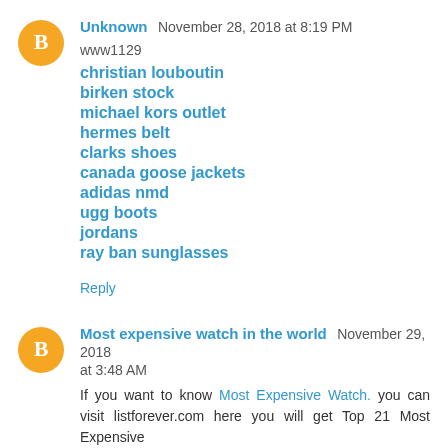Unknown November 28, 2018 at 8:19 PM
www1129
christian louboutin
birken stock
michael kors outlet
hermes belt
clarks shoes
canada goose jackets
adidas nmd
ugg boots
jordans
ray ban sunglasses
Reply
Most expensive watch in the world November 29, 2018 at 3:48 AM
If you want to know Most Expensive Watch. you can visit listforever.com here you will get Top 21 Most Expensive